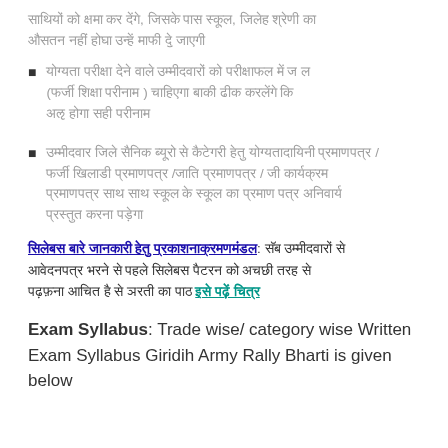Hindi text (gray) - top paragraph about requirements
Hindi bullet point 1 - about eligibility/registration with (Provisional System Registration) and related conditions
Hindi bullet point 2 - about candidate category/employment/trade related conditions
Hindi section heading (blue underlined): followed by Hindi text and teal underlined text
Exam Syllabus: Trade wise/ category wise Written Exam Syllabus Giridih Army Rally Bharti is given below